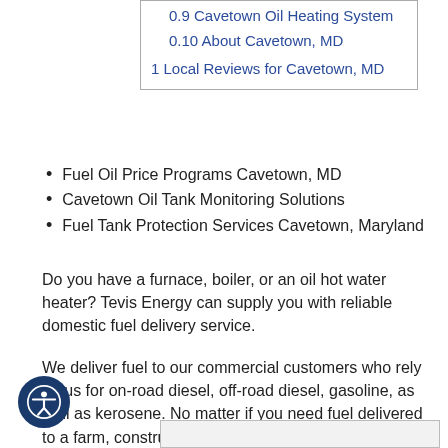0.9 Cavetown Oil Heating System
0.10 About Cavetown, MD
1 Local Reviews for Cavetown, MD
Fuel Oil Price Programs Cavetown, MD
Cavetown Oil Tank Monitoring Solutions
Fuel Tank Protection Services Cavetown, Maryland
Do you have a furnace, boiler, or an oil hot water heater? Tevis Energy can supply you with reliable domestic fuel delivery service.
We deliver fuel to our commercial customers who rely on us for on-road diesel, off-road diesel, gasoline, as well as kerosene. No matter if you need fuel delivered to a farm, construction site, industrial facility, transportation facility, you can depend on Tevis Energy!